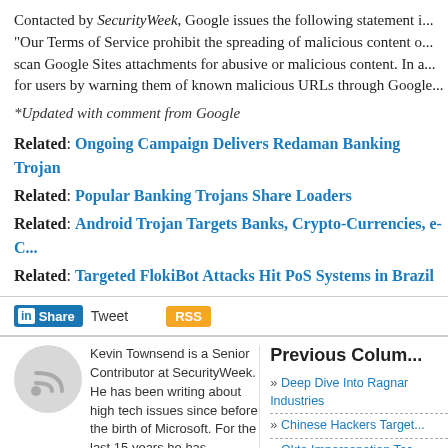Contacted by SecurityWeek, Google issues the following statement i... "Our Terms of Service prohibit the spreading of malicious content o... scan Google Sites attachments for abusive or malicious content. In a... for users by warning them of known malicious URLs through Google...
*Updated with comment from Google
Related: Ongoing Campaign Delivers Redaman Banking Trojan
Related: Popular Banking Trojans Share Loaders
Related: Android Trojan Targets Banks, Crypto-Currencies, e-C...
Related: Targeted FlokiBot Attacks Hit PoS Systems in Brazil
[Figure (screenshot): Share bar with LinkedIn Share button, Tweet link, and RSS button]
Kevin Townsend is a Senior Contributor at SecurityWeek. He has been writing about high tech issues since before the birth of Microsoft. For the last 15 years he has specialized in information security; and has had many thousands of articles published in dozens of different magazines – from The Times and the Financial Times to
Previous Colum...
Deep Dive Into Ragnar Industries
Chinese Hackers Target...
Okta Impersonation Tec...
XIoT Vendors Show Pro... Vulnerabilities